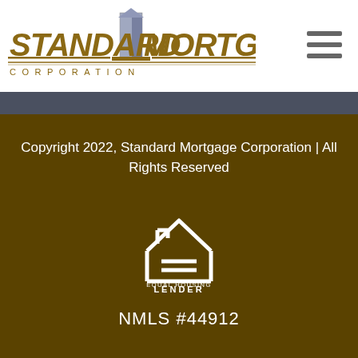[Figure (logo): Standard Mortgage Corporation logo with golden italic text and a building icon in the center]
[Figure (other): Hamburger menu icon (three horizontal bars)]
Copyright 2022, Standard Mortgage Corporation | All Rights Reserved
[Figure (logo): Equal Housing Lender logo - house outline with equals sign inside, with text EQUAL HOUSING LENDER below]
NMLS #44912